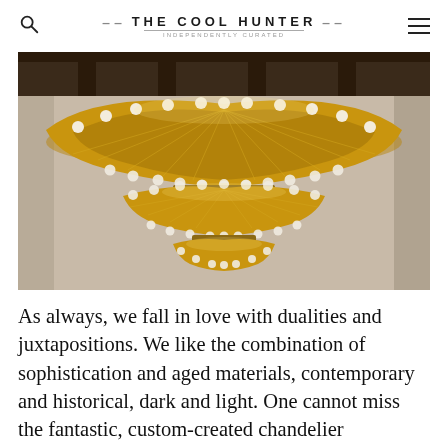THE COOL HUNTER
[Figure (photo): A large ornate multi-tiered chandelier with golden woven threads and crystal globe lights, photographed from below against a ceiling with dark wooden beams.]
As always, we fall in love with dualities and juxtapositions. We like the combination of sophistication and aged materials, contemporary and historical, dark and light. One cannot miss the fantastic, custom-created chandelier